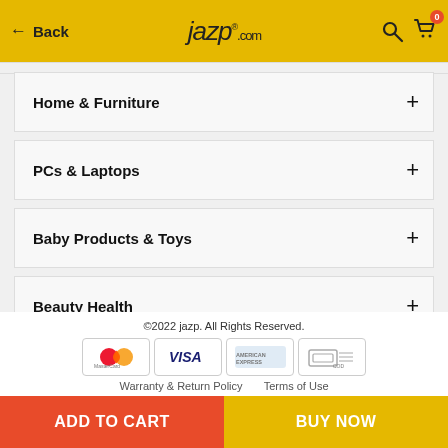Back | jazp.com
Home & Furniture +
PCs & Laptops +
Baby Products & Toys +
Beauty Health +
©2022 jazp. All Rights Reserved.
Warranty & Return Policy   Terms of Use
ADD TO CART   BUY NOW